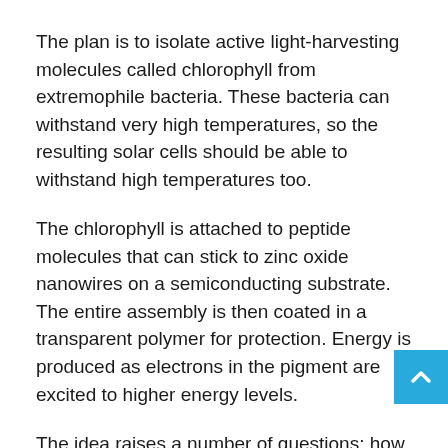The plan is to isolate active light-harvesting molecules called chlorophyll from extremophile bacteria. These bacteria can withstand very high temperatures, so the resulting solar cells should be able to withstand high temperatures too.
The chlorophyll is attached to peptide molecules that can stick to zinc oxide nanowires on a semiconducting substrate. The entire assembly is then coated in a transparent polymer for protection. Energy is produced as electrons in the pigment are excited to higher energy levels.
The idea raises a number of questions: how efficiently can these bio-solar cells convert sunlight into electricity, how long would they last, and above all how cheaply can they be made? Zhang does not address these issues in his patent application, but, since its early days for bio-solar cells, you can bet they'll